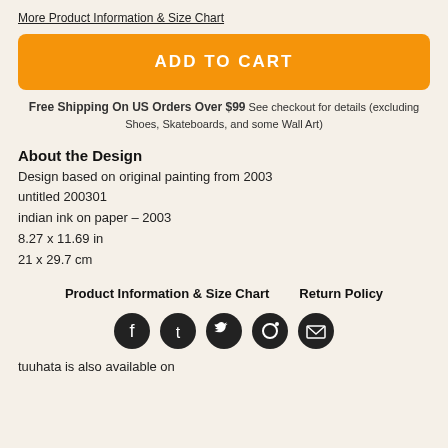More Product Information & Size Chart
ADD TO CART
Free Shipping On US Orders Over $99 See checkout for details (excluding Shoes, Skateboards, and some Wall Art)
About the Design
Design based on original painting from 2003
untitled 200301
indian ink on paper – 2003
8.27 x 11.69 in
21 x 29.7 cm
Product Information & Size Chart     Return Policy
[Figure (infographic): Five social media share icons in dark circles: Facebook, Tumblr, Twitter, Pinterest, Email]
tuuhata is also available on